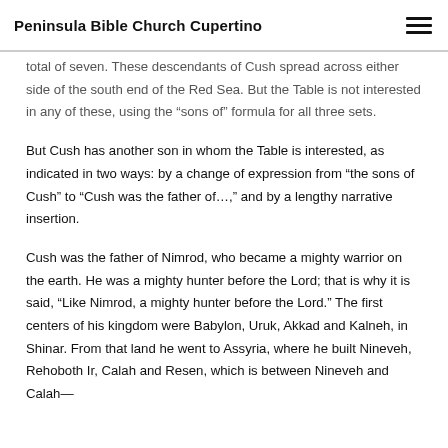Peninsula Bible Church Cupertino
total of seven. These descendants of Cush spread across either side of the south end of the Red Sea. But the Table is not interested in any of these, using the “sons of” formula for all three sets.
But Cush has another son in whom the Table is interested, as indicated in two ways: by a change of expression from “the sons of Cush” to “Cush was the father of…,” and by a lengthy narrative insertion.
Cush was the father of Nimrod, who became a mighty warrior on the earth. He was a mighty hunter before the Lord; that is why it is said, “Like Nimrod, a mighty hunter before the Lord.” The first centers of his kingdom were Babylon, Uruk, Akkad and Kalneh, in Shinar. From that land he went to Assyria, where he built Nineveh, Rehoboth Ir, Calah and Resen, which is between Nineveh and Calah—